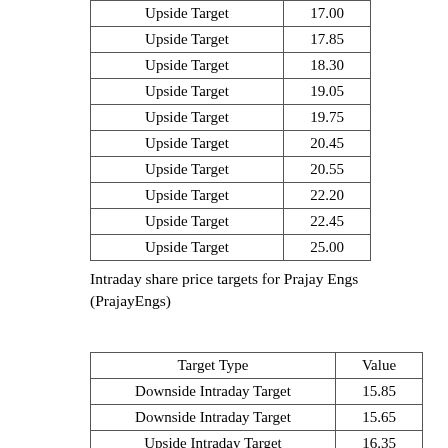| Target Type | Value |
| --- | --- |
| Upside Target | 17.00 |
| Upside Target | 17.85 |
| Upside Target | 18.30 |
| Upside Target | 19.05 |
| Upside Target | 19.75 |
| Upside Target | 20.45 |
| Upside Target | 20.55 |
| Upside Target | 22.20 |
| Upside Target | 22.45 |
| Upside Target | 25.00 |
Intraday share price targets for Prajay Engs (PrajayEngs)
| Target Type | Value |
| --- | --- |
| Downside Intraday Target | 15.85 |
| Downside Intraday Target | 15.65 |
| Upside Intraday Target | 16.35 |